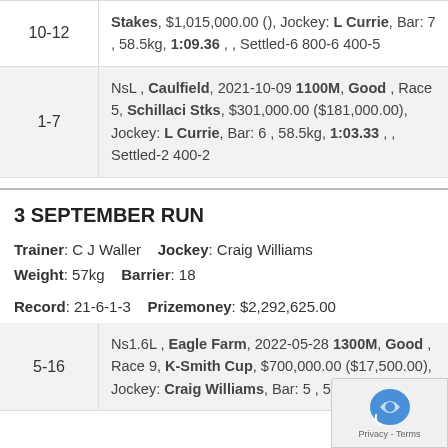10-12  Stakes, $1,015,000.00 (), Jockey: L Currie, Bar: 7, 58.5kg, 1:09.36, , Settled-6 800-6 400-5
1-7  NsL, Caulfield, 2021-10-09 1100M, Good, Race 5, Schillaci Stks, $301,000.00 ($181,000.00), Jockey: L Currie, Bar: 6, 58.5kg, 1:03.33, , Settled-2 400-2
3 SEPTEMBER RUN
Trainer: C J Waller   Jockey: Craig Williams
Weight: 57kg   Barrier: 18
Record: 21-6-1-3   Prizemoney: $2,292,625.00
5-16  Ns1.6L, Eagle Farm, 2022-05-28 1300M, Good, Race 9, K-Smith Cup, $700,000.00 ($17,500.00), Jockey: Craig Williams, Bar: 5, 57kg, 1:16.39, ,